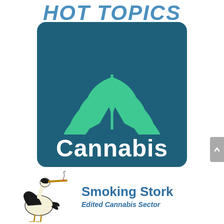HOT TOPICS
[Figure (logo): Dark teal rounded square with a large green cannabis leaf illustration above the word Cannabis in white bold text]
[Figure (illustration): A stork bird holding a cigarette in its beak, drawn in a vintage illustration style with black and gold/cream coloring]
Smoking Stork
Edited Cannabis Sector